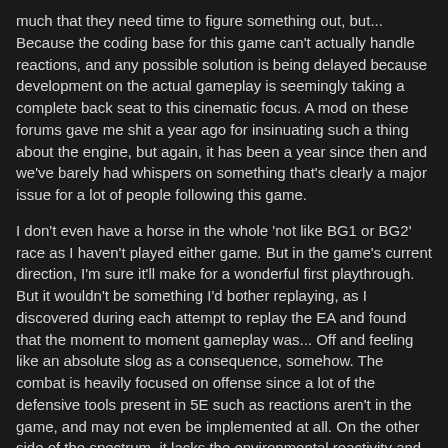much that they need time to figure something out, but... Because the coding base for this game can't actually handle reactions, and any possible solution is being delayed because development on the actual gameplay is seemingly taking a complete back seat to this cinematic focus. A mod on these forums gave me shit a year ago for insinuating such a thing about the engine, but again, it has been a year since then and we've barely had whispers on something that's clearly a major issue for a lot of people following this game.
I don't even have a horse in the whole 'not like BG1 or BG2' race as I haven't played either game. But in the game's current direction, I'm sure it'll make for a wonderful first playthrough. But it wouldn't be something I'd bother replaying, as I discovered during each attempt to replay the EA and found that the moment to moment gameplay was... Off and feeling like an absolute slog as a consequence, somehow. The combat is heavily focused on offense since a lot of the defensive tools present in 5E such as reactions aren't in the game, and may not even be implemented at all. On the other side of the spectrum, it lacks the environmental reactivity and build variety that DOS2 had. In the months leading up to DOS2's release, you had people swearing up and down that it was the ultimate proof that turn-based combat still had a place in the gaming industry, and it would herald the beginning of that combat style being embraced by the industry once more, which it arguably did. BG3? A blip on the radar in an industry dominated by other studios far more experienced with story and cinematics. The camp that values gameplay over story/writing seems rather tepid about this game, but the story-craving camp (or well, the camp that likes this style of writing and